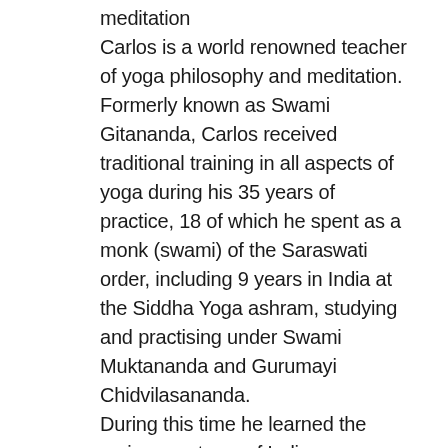meditation
Carlos is a world renowned teacher of yoga philosophy and meditation. Formerly known as Swami Gitananda, Carlos received traditional training in all aspects of yoga during his 35 years of practice, 18 of which he spent as a monk (swami) of the Saraswati order, including 9 years in India at the Siddha Yoga ashram, studying and practising under Swami Muktananda and Gurumayi Chidvilasananda.
During this time he learned the various systems of Indian Philosophy, immersed himself in the practice of yoga and became one of the senior monks of the tradition — teaching meditation and philosophy to tens of thousands of students around the world. He combines this experience and traditional training with his academic background, which